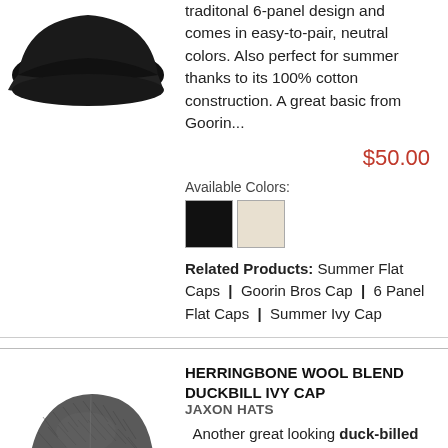[Figure (photo): Black flat cap hat partially visible at top-left]
traditonal 6-panel design and comes in easy-to-pair, neutral colors. Also perfect for summer thanks to its 100% cotton construction. A great basic from Goorin...
$50.00
Available Colors:
[Figure (illustration): Two color swatches: black and beige/cream]
Related Products: Summer Flat Caps | Goorin Bros Cap | 6 Panel Flat Caps | Summer Ivy Cap
[Figure (photo): Herringbone wool blend dark grey duckbill ivy cap]
HERRINGBONE WOOL BLEND DUCKBILL IVY CAP
JAXON HATS
Another great looking duck-billed flat cap from the fine designers at Jaxon Hats. The cap has a good tight herringbone pattern separated into a 6-panel ivy cap fit. The crown has the